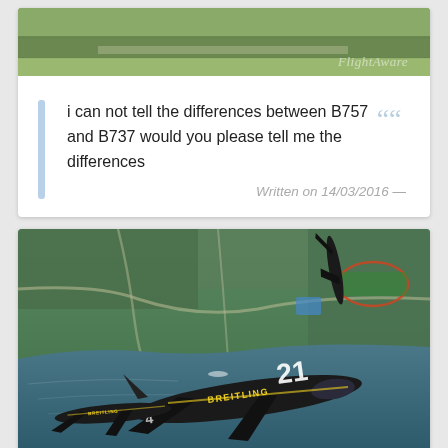[Figure (photo): Aerial photograph of runway/airfield with FlightAware watermark, top portion visible]
i can not tell the differences between B757 and B737 would you please tell me the differences
Written on 14/03/2016 —
[Figure (photo): Aerial photograph of Breitling jet aircraft flying over a city and lake, with number 21 on fuselage, multiple aircraft visible in formation]